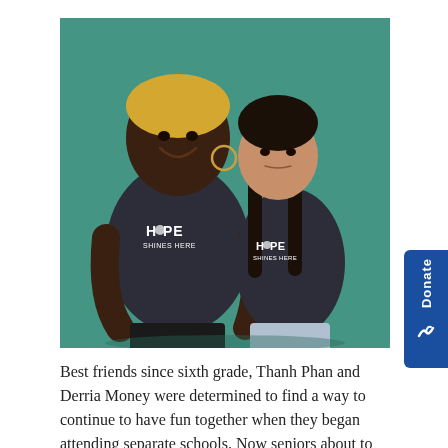[Figure (photo): Two women standing in front of a teal/green wall, both wearing dark gray 'HOPE SHINES HERE' t-shirts. The woman on the left is taller with short blonde hair and hoop earrings, smiling broadly. The woman on the right has long dark hair and a neutral expression. A blue 'Donate' tab with a bird logo appears on the right edge.]
Best friends since sixth grade, Thanh Phan and Derria Money were determined to find a way to continue to have fun together when they began attending separate schools. Now seniors about to begin new chapters, they have kept their friendship strong.
One way they found time together in their busy